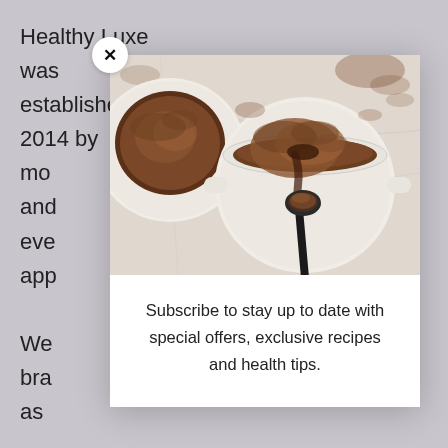Healthy Luxe was established in 2014 by mo... and... eve... app... We... bra... as... Sin... ma... ov... on... ba...
[Figure (photo): Two white ramekins with chocolate lava cakes/puddings, one with a spoon digging into it, on a white marble surface with cocoa powder dusting]
Subscribe to stay up to date with special offers, exclusive recipes and health tips.